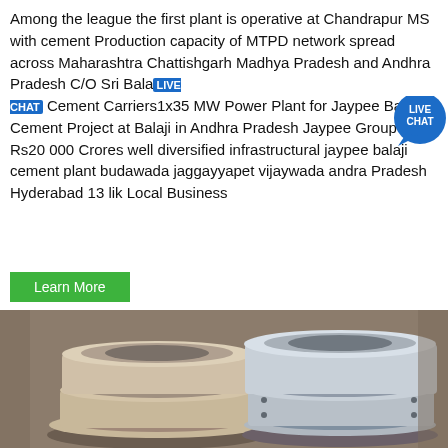Among the league the first plant is operative at Chandrapur MS with cement Production capacity of MTPD network spread across Maharashtra Chattishgarh Madhya Pradesh and Andhra Pradesh C/O Sri Balaji Cement Carriers1x35 MW Power Plant for Jaypee Balaji Cement Project at Balaji in Andhra Pradesh Jaypee Group is a Rs20 000 Crores well diversified infrastructural jaypee balaji cement plant budawada jaggayyapet vijaywada andra Pradesh Hyderabad 13 lik Local Business
[Figure (other): Live Chat badge/button overlay — circular blue badge with 'LIVE CHAT' text and speech bubble icon]
Learn More
[Figure (photo): Photo of stacked industrial flange/coupling components, grey and beige metal rings stacked in pairs, likely cement plant equipment parts]